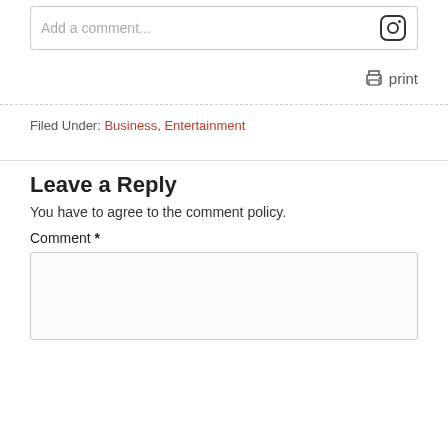[Figure (screenshot): Comment input box with placeholder text 'Add a comment...' and an Instagram icon on the right]
print
Filed Under: Business, Entertainment
Leave a Reply
You have to agree to the comment policy.
Comment *